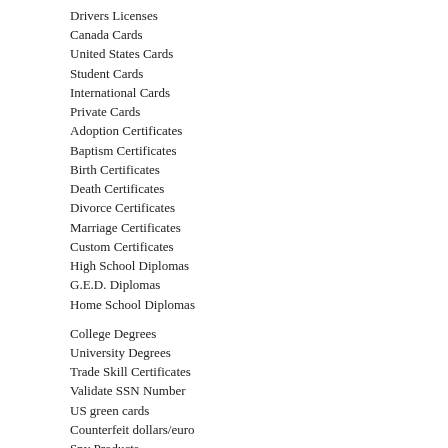Drivers Licenses
Canada Cards
United States Cards
Student Cards
International Cards
Private Cards
Adoption Certificates
Baptism Certificates
Birth Certificates
Death Certificates
Divorce Certificates
Marriage Certificates
Custom Certificates
High School Diplomas
G.E.D. Diplomas
Home School Diplomas
College Degrees
University Degrees
Trade Skill Certificates
Validate SSN Number
US green cards
Counterfeit dollars/euro
Spy Products
Voice Changers
Listening Devices
Invisible Ink
DMV Record Inquiry
Background Check
Investigate Anyone
ssd chemical solution
activation powder
------------------------------------------------
CONTACT DETAILS:
Whatsapp Contact Only: +447537127155